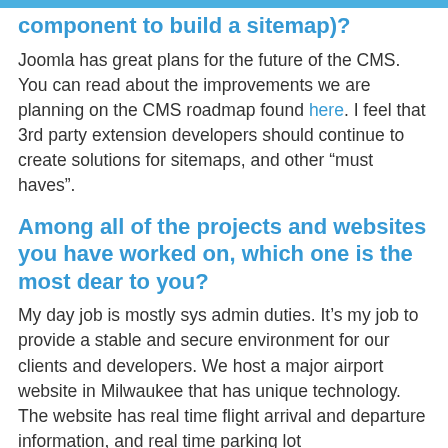component to build a sitemap)?
Joomla has great plans for the future of the CMS. You can read about the improvements we are planning on the CMS roadmap found here. I feel that 3rd party extension developers should continue to create solutions for sitemaps, and other “must haves”.
Among all of the projects and websites you have worked on, which one is the most dear to you?
My day job is mostly sys admin duties. It’s my job to provide a stable and secure environment for our clients and developers. We host a major airport website in Milwaukee that has unique technology. The website has real time flight arrival and departure information, and real time parking lot